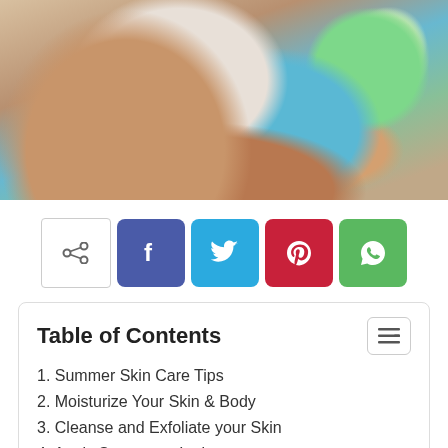[Figure (photo): Person lying down with a white face mask applied, wearing a teal/turquoise towel wrap around their head; another person holding a green bowl with white cream/mask product]
[Figure (infographic): Social sharing buttons: share icon button (outlined), Facebook (blue), Twitter (light blue), Pinterest (red), WhatsApp (green)]
Table of Contents
1. Summer Skin Care Tips
2. Moisturize Your Skin & Body
3. Cleanse and Exfoliate your Skin
4. Apply Sunscreen Lotion
5. Natural Face Packs
6. Don't Over Makeup